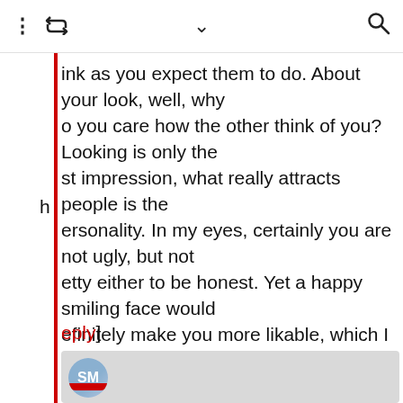[Figure (screenshot): Toolbar with icons: vertical dots, retweet icon, chevron/arrow down, and search magnifier]
ink as you expect them to do. About your look, well, why o you care how the other think of you? Looking is only the st impression, what really attracts people is the ersonality. In my eyes, certainly you are not ugly, but not etty either to be honest. Yet a happy smiling face would efinitely make you more likable, which I am afraid you on't have.
[Reply]
Mva Reply:
October 6th, 2013 at 11:01 pm

Rachel this is a personal blog where Sara shares her experience in China. So if it ends up being self -centered